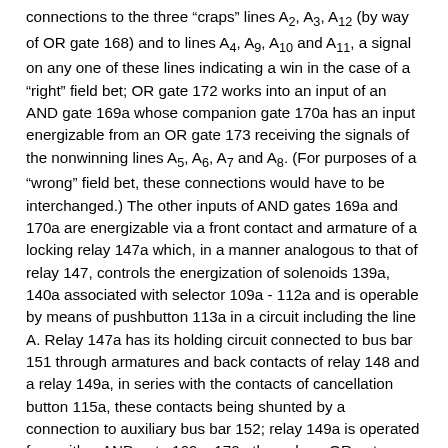connections to the three "craps" lines A2, A3, A12 (by way of OR gate 168) and to lines A4, A9, A10 and A11, a signal on any one of these lines indicating a win in the case of a "right" field bet; OR gate 172 works into an input of an AND gate 169a whose companion gate 170a has an input energizable from an OR gate 173 receiving the signals of the nonwinning lines A5, A6, A7 and A8. (For purposes of a "wrong" field bet, these connections would have to be interchanged.) The other inputs of AND gates 169a and 170a are energizable via a front contact and armature of a locking relay 147a which, in a manner analogous to that of relay 147, controls the energization of solenoids 139a, 140a associated with selector 109a - 112a and is operable by means of pushbutton 113a in a circuit including the line A. Relay 147a has its holding circuit connected to bus bar 151 through armatures and back contacts of relay 148 and a relay 149a, in series with the contacts of cancellation button 115a, these contacts being shunted by a connection to auxiliary bus bar 152; relay 149a is operated from either AND gate 169a, 170a through an OR gate 193a. The upper armature and front contact of relay 147a also serve to energize, in parallel with AND gates 169a and 170a, a relay 144a which controls the operation of a multiplier 145a in response to the setting of selector 109a - 112a. Multiplier 145a also has an input connected directly to the energizing lead of relay 144a, in parallel with the lamp of sign 116a, to receive information on the odds factor (here unity) assigned to this particular bet; this is necessary only if the multiplier is also used, as diagrammatically illustrated by additional input leads, to calculate